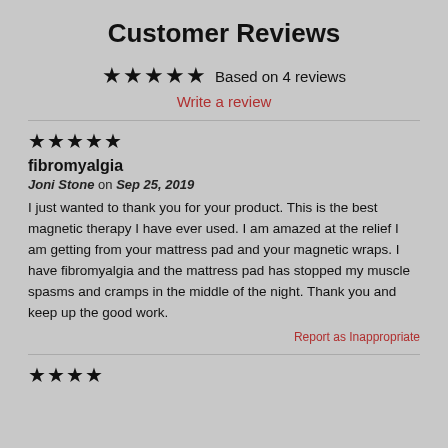Customer Reviews
★★★★★ Based on 4 reviews
Write a review
★★★★★
fibromyalgia
Joni Stone on Sep 25, 2019
I just wanted to thank you for your product. This is the best magnetic therapy I have ever used. I am amazed at the relief I am getting from your mattress pad and your magnetic wraps. I have fibromyalgia and the mattress pad has stopped my muscle spasms and cramps in the middle of the night. Thank you and keep up the good work.
Report as Inappropriate
★★★★